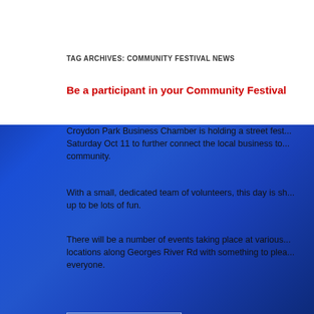TAG ARCHIVES: COMMUNITY FESTIVAL NEWS
Be a participant in your Community Festival
Croydon Park Business Chamber is holding a street fest... Saturday Oct 11 to further connect the local business to... community.
With a small, dedicated team of volunteers, this day is sh... up to be lots of fun.
There will be a number of events taking place at various... locations along Georges River Rd with something to plea... everyone.
[Figure (photo): Image placeholder box at bottom of the article]